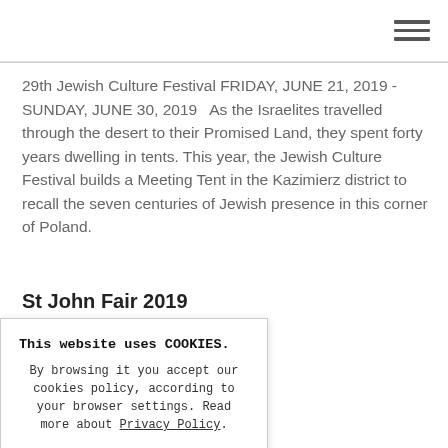[hamburger menu icon]
29th Jewish Culture Festival FRIDAY, JUNE 21, 2019 - SUNDAY, JUNE 30, 2019   As the Israelites travelled through the desert to their Promised Land, they spent forty years dwelling in tents. This year, the Jewish Culture Festival builds a Meeting Tent in the Kazimierz district to recall the seven centuries of Jewish presence in this corner of Poland.
St John Fair 2019
14, 2019 - SUNDAY, nkments   The tenth he Czerwieński ne. Events traditionally strations and attractions
This website uses COOKIES.

By browsing it you accept our cookies policy, according to your browser settings. Read more about Privacy Policy.

OK, close